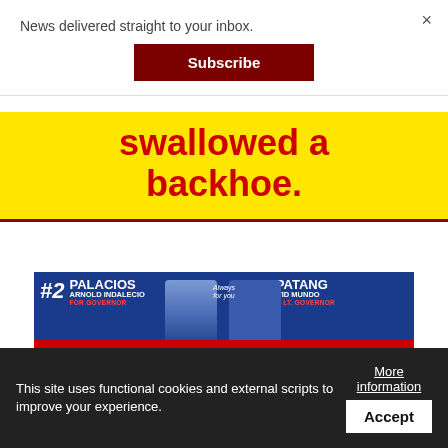News delivered straight to your inbox.
Subscribe
swallowed a backhoe.
[Figure (infographic): Political campaign advertisement banner for Palacios Arnold Indalecio #2 for Governor and Apatang David Mundo #2 for Lt. Governor, Vote/Bota Independent, Rebuilding Trust]
Gone: Economic diversification
This site uses functional cookies and external scripts to improve your experience.
More information
Accept